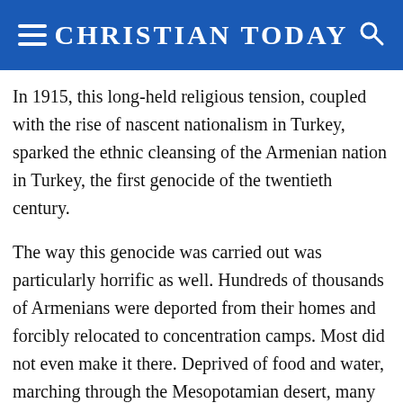CHRISTIAN TODAY
In 1915, this long-held religious tension, coupled with the rise of nascent nationalism in Turkey, sparked the ethnic cleansing of the Armenian nation in Turkey, the first genocide of the twentieth century.
The way this genocide was carried out was particularly horrific as well. Hundreds of thousands of Armenians were deported from their homes and forcibly relocated to concentration camps. Most did not even make it there. Deprived of food and water, marching through the Mesopotamian desert, many died of starvation and exhaustion. Those who refused to go on were executed.
Elsewhere, entire towns and villages would be targeted. The Turkish government employed "killing squads", often